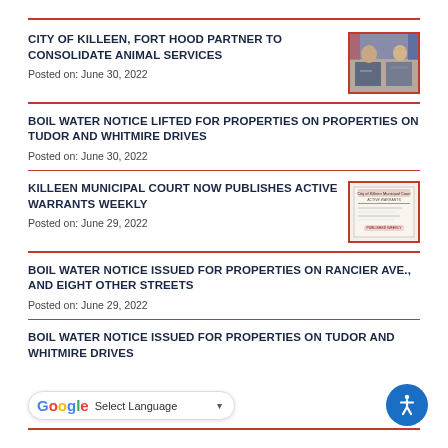CITY OF KILLEEN, FORT HOOD PARTNER TO CONSOLIDATE ANIMAL SERVICES
Posted on: June 30, 2022
[Figure (photo): Two people shaking hands at a table, official government setting with flags in background]
BOIL WATER NOTICE LIFTED FOR PROPERTIES ON PROPERTIES ON TUDOR AND WHITMIRE DRIVES
Posted on: June 30, 2022
KILLEEN MUNICIPAL COURT NOW PUBLISHES ACTIVE WARRANTS WEEKLY
Posted on: June 29, 2022
[Figure (photo): Official Killeen Municipal Court document showing active warrants]
BOIL WATER NOTICE ISSUED FOR PROPERTIES ON RANCIER AVE., AND EIGHT OTHER STREETS
Posted on: June 29, 2022
BOIL WATER NOTICE ISSUED FOR PROPERTIES ON TUDOR AND WHITMIRE DRIVES